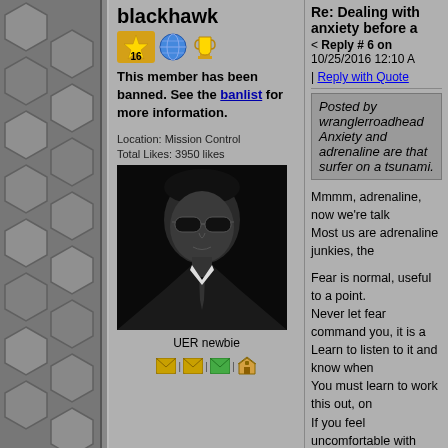blackhawk
This member has been banned. See the banlist for more information.
Location: Mission Control
Total Likes: 3950 likes
[Figure (photo): Black and white profile photo of a man wearing dark sunglasses and a suit.]
UER newbie
Re: Dealing with anxiety before a
< Reply # 6 on 10/25/2016 12:10 A
| Reply with Quote
Posted by wranglerroadhead
Anxiety and adrenaline are that surfer on a tsunami.
Mmmm, adrenaline, now we're talk Most us are adrenaline junkies, the

Fear is normal, useful to a point.
Never let fear command you, it is a
Learn to listen to it and know when
You must learn to work this out, on
If you feel uncomfortable with peop
Life is not risk free, none of it.
Living is a risk no matter what you
Learn to limit your exposure to unre
What defines unreasonable? You do
Learn by doing. Read as much here
Learn from others mistakes and suc

Your biggest risks are falls, structu
These are mostly preventable if -yo
Read the Hellholes thread in the Ma